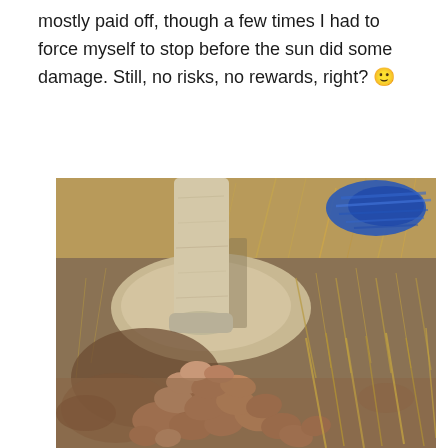mostly paid off, though a few times I had to force myself to stop before the sun did some damage. Still, no risks, no rewards, right? 🙂
[Figure (photo): Outdoor photo showing the base of a wooden fence post set in sandy/clay soil, with a pile of reddish-brown rocks stacked around the base. Dry brown grass surrounds the area. A blue rope or netting is visible in the upper right background. Bright natural daylight.]